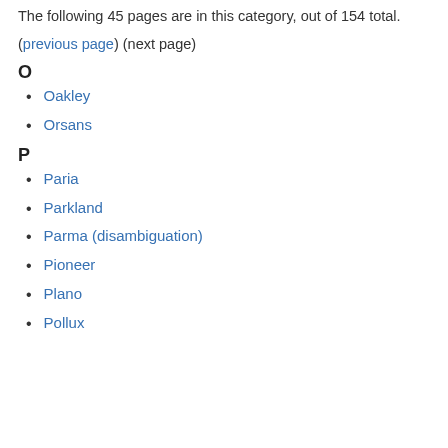The following 45 pages are in this category, out of 154 total.
(previous page) (next page)
O
Oakley
Orsans
P
Paria
Parkland
Parma (disambiguation)
Pioneer
Plano
Pollux